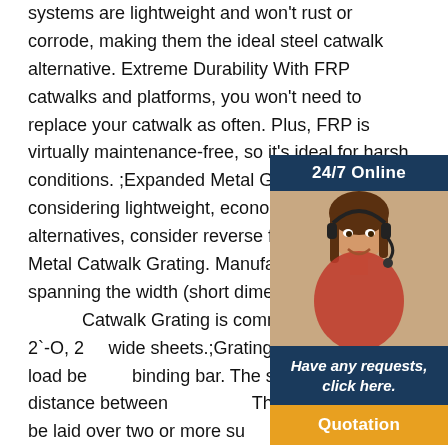systems are lightweight and won't rust or corrode, making them the ideal steel catwalk alternative. Extreme Durability With FRP catwalks and platforms, you won't need to replace your catwalk as often. Plus, FRP is virtually maintenance-free, so it's ideal for harsh conditions. ;Expanded Metal Grating When considering lightweight, economical catwalk alternatives, consider reverse flow Expanded Metal Catwalk Grating. Manufac… LWD spanning the width (short dimension) of th… Catwalk Grating is commonly stocked in 2`-O, 2… wide sheets.;Grating length = length of load bea… binding bar. The span is the distance between … The grating should be laid over two or more su… deflection. When stating dimensions the. Expan… Lowes Catwalk Steel Grating Best Price : Consult… inventory;Bar Grating: Bar grating provides a reliable load-bearing paneled surface that is commonly used in plants,
[Figure (infographic): Customer service widget with '24/7 Online' header in dark blue, photo of a woman wearing a headset, dark blue panel with italic text 'Have any requests, click here.' and an orange 'Quotation' button.]